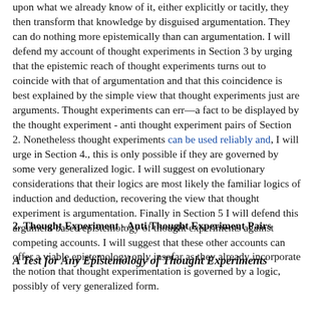upon what we already know of it, either explicitly or tacitly, they then transform that knowledge by disguised argumentation. They can do nothing more epistemically than can argumentation. I will defend my account of thought experiments in Section 3 by urging that the epistemic reach of thought experiments turns out to coincide with that of argumentation and that this coincidence is best explained by the simple view that thought experiments just are arguments. Thought experiments can err—a fact to be displayed by the thought experiment - anti thought experiment pairs of Section 2. Nonetheless thought experiments can be used reliably and, I will urge in Section 4., this is only possible if they are governed by some very generalized logic. I will suggest on evolutionary considerations that their logics are most likely the familiar logics of induction and deduction, recovering the view that thought experiment is argumentation. Finally in Section 5 I will defend this argument based epistemology of thought experiments against competing accounts. I will suggest that these other accounts can offer a viable epistemology only insofar as they already incorporate the notion that thought experimentation is governed by a logic, possibly of very generalized form.
2. Thought Experiment - Anti Thought Experiment Pairs
A Test for Any Epistemology of Thought Experiments